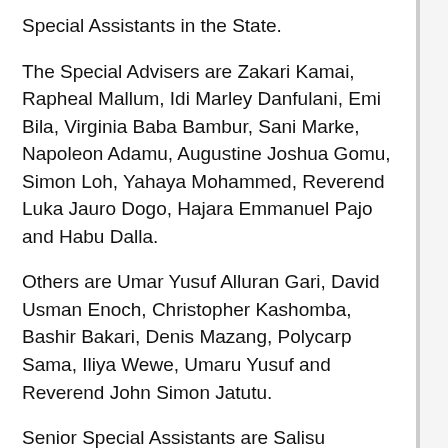Special Assistants in the State.
The Special Advisers are Zakari Kamai, Rapheal Mallum, Idi Marley Danfulani, Emi Bila, Virginia Baba Bambur, Sani Marke, Napoleon Adamu, Augustine Joshua Gomu, Simon Loh, Yahaya Mohammed, Reverend Luka Jauro Dogo, Hajara Emmanuel Pajo and Habu Dalla.
Others are Umar Yusuf Alluran Gari, David Usman Enoch, Christopher Kashomba, Bashir Bakari, Denis Mazang, Polycarp Sama, Iliya Wewe, Umaru Yusuf and Reverend John Simon Jatutu.
Senior Special Assistants are Salisu Adamu, Sani Umar Juku, Mutanzir Habibu